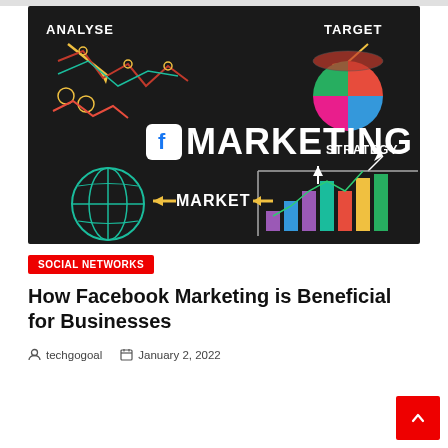[Figure (illustration): Dark chalkboard-style marketing illustration showing Facebook Marketing text with f logo, pie chart labeled TARGET, bar chart with colorful bars, globe icon labeled MARKET with arrow, and ANALYSE and STRATEGY labels with arrows and line graphs.]
SOCIAL NETWORKS
How Facebook Marketing is Beneficial for Businesses
techgogoal   January 2, 2022